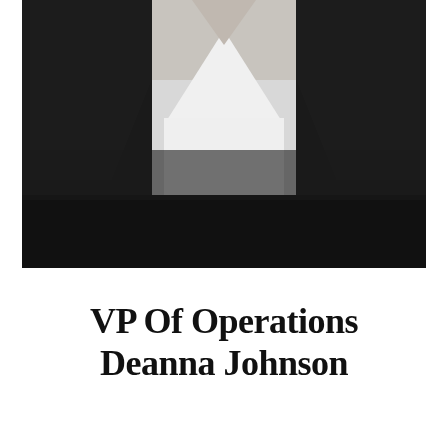[Figure (photo): Black and white professional photo of a person wearing a dark blazer over a white V-neck top, cropped from shoulders to mid-torso. The lower portion of the image is a solid black bar.]
VP Of Operations Deanna Johnson